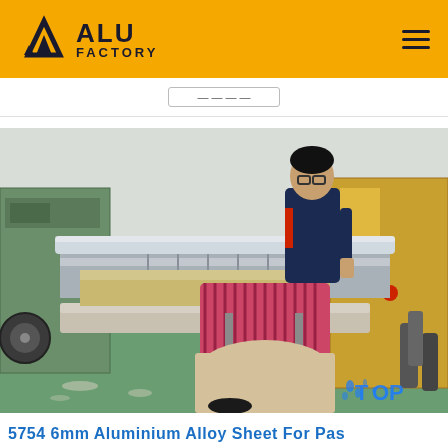ALU FACTORY
[Figure (photo): Two workers operating a large industrial aluminum rolling/slitting machine in a factory setting. One worker is bending over the machine inspecting the rollers, while another stands behind. The machine is green with metal rollers. Factory floor is visible.]
5754 6mm Aluminium Alloy Sheet For Pas